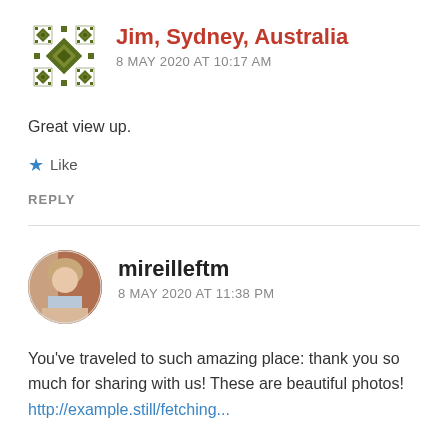[Figure (illustration): Green quilt-pattern avatar icon for Jim, Sydney, Australia]
Jim, Sydney, Australia
8 MAY 2020 AT 10:17 AM
Great view up.
Like
REPLY
[Figure (photo): Circular profile photo of mireilleftm, a woman seated outdoors near brick wall]
mireilleftm
8 MAY 2020 AT 11:38 PM
You've traveled to such amazing place: thank you so much for sharing with us! These are beautiful photos!